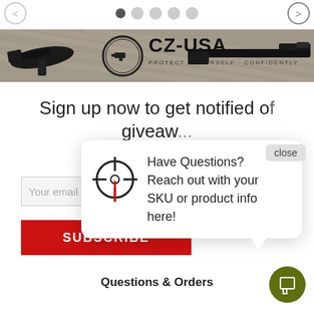[Figure (screenshot): Navigation dots and arrows for a carousel/slideshow. One filled dot (active), four empty dots, left and right arrow buttons.]
[Figure (screenshot): CZ-USA advertisement banner with logo, diamond plate background, and firearm images on left and right.]
Sign up now to get notified of giveaw...
[Figure (screenshot): Email input field with placeholder 'Your email ad...']
[Figure (screenshot): Red SUBSCRIBE button]
[Figure (infographic): Popup tooltip with crosshair/scope icon and text: Have Questions? Reach out with your SKU or product info here!]
close
Questions & Orders